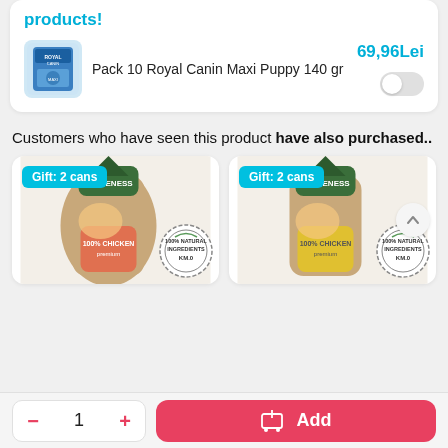products!
[Figure (photo): Royal Canin Maxi Puppy 140gr product image thumbnail]
Pack 10 Royal Canin Maxi Puppy 140 gr
69,96Lei
Customers who have seen this product have also purchased..
[Figure (photo): Traveness dog food bag with 100% Natural Ingredients KM.0 stamp badge, Gift: 2 cans label]
[Figure (photo): Traveness dog food bag (yellow) with 100% Natural Ingredients KM.0 stamp badge, Gift: 2 cans label]
- 1 +
Add